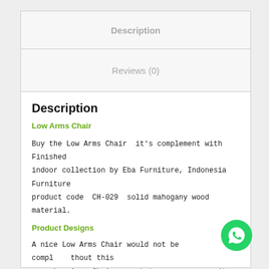Description
Reviews (0)
Description
Low Arms Chair
Buy the Low Arms Chair  it's complement with Finished indoor collection by Eba Furniture, Indonesia Furniture product code  CH-029  solid mahogany wood material.
Product Designs
A nice Low Arms Chair would not be compl  thout this one. Low Arms Chair, or whatever you war  it. They are a nice addition to already exist indoor Indonesia